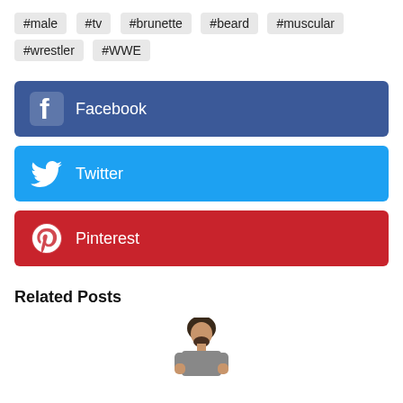#male #tv #brunette #beard #muscular #wrestler #WWE
[Figure (infographic): Facebook share button - blue rounded rectangle with Facebook logo and text 'Facebook']
[Figure (infographic): Twitter share button - cyan rounded rectangle with Twitter bird logo and text 'Twitter']
[Figure (infographic): Pinterest share button - red rounded rectangle with Pinterest logo and text 'Pinterest']
Related Posts
[Figure (photo): Partial image of a male WWE wrestler with brunette hair and beard, shown from waist up]